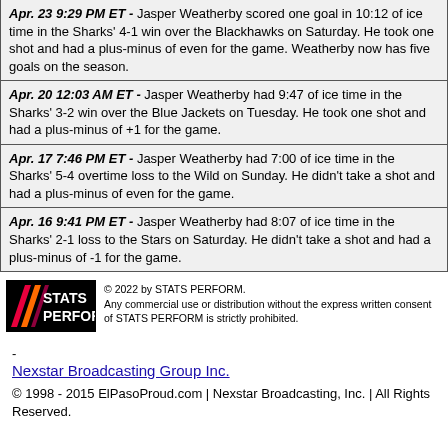Apr. 23 9:29 PM ET - Jasper Weatherby scored one goal in 10:12 of ice time in the Sharks' 4-1 win over the Blackhawks on Saturday. He took one shot and had a plus-minus of even for the game. Weatherby now has five goals on the season.
Apr. 20 12:03 AM ET - Jasper Weatherby had 9:47 of ice time in the Sharks' 3-2 win over the Blue Jackets on Tuesday. He took one shot and had a plus-minus of +1 for the game.
Apr. 17 7:46 PM ET - Jasper Weatherby had 7:00 of ice time in the Sharks' 5-4 overtime loss to the Wild on Sunday. He didn't take a shot and had a plus-minus of even for the game.
Apr. 16 9:41 PM ET - Jasper Weatherby had 8:07 of ice time in the Sharks' 2-1 loss to the Stars on Saturday. He didn't take a shot and had a plus-minus of -1 for the game.
[Figure (logo): STATS PERFORM logo on black background with colored diagonal stripes]
© 2022 by STATS PERFORM. Any commercial use or distribution without the express written consent of STATS PERFORM is strictly prohibited.
-
Nexstar Broadcasting Group Inc.
© 1998 - 2015 ElPasoProud.com | Nexstar Broadcasting, Inc. | All Rights Reserved.